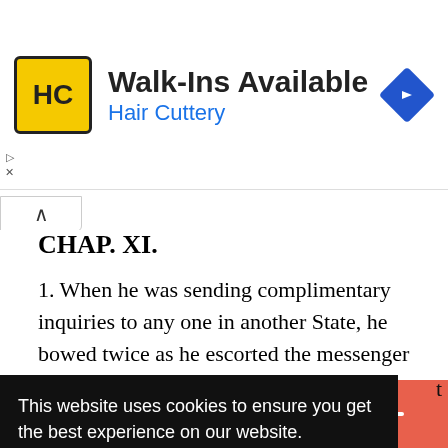[Figure (infographic): Hair Cuttery advertisement banner with yellow HC logo, 'Walk-Ins Available' heading, 'Hair Cuttery' subheading in blue, and a blue navigation diamond icon on the right]
CHAP. XI.
1. When he was sending complimentary inquiries to any one in another State, he bowed twice as he escorted the messenger away.
2. Chi K'ang having sent him a present of physic,
This website uses cookies to ensure you get the best experience on our website.
Got it!
[Figure (infographic): Social share bar with Facebook, Twitter, Email, and Plus buttons]